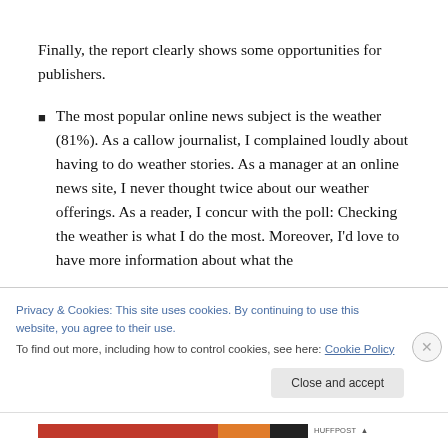Finally, the report clearly shows some opportunities for publishers.
The most popular online news subject is the weather (81%). As a callow journalist, I complained loudly about having to do weather stories. As a manager at an online news site, I never thought twice about our weather offerings. As a reader, I concur with the poll: Checking the weather is what I do the most. Moreover, I'd love to have more information about what the
Privacy & Cookies: This site uses cookies. By continuing to use this website, you agree to their use.
To find out more, including how to control cookies, see here: Cookie Policy
Close and accept